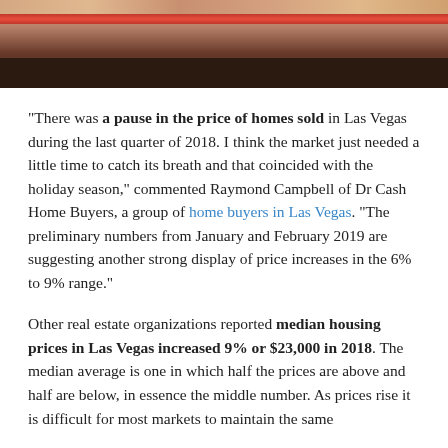[Figure (photo): Top portion of a photograph showing what appears to be food or a decorative object with a red curved element against a dark background.]
“There was a pause in the price of homes sold in Las Vegas during the last quarter of 2018. I think the market just needed a little time to catch its breath and that coincided with the holiday season,” commented Raymond Campbell of Dr Cash Home Buyers, a group of home buyers in Las Vegas. “The preliminary numbers from January and February 2019 are suggesting another strong display of price increases in the 6% to 9% range.”
Other real estate organizations reported median housing prices in Las Vegas increased 9% or $23,000 in 2018. The median average is one in which half the prices are above and half are below, in essence the middle number. As prices rise it is difficult for most markets to maintain the same